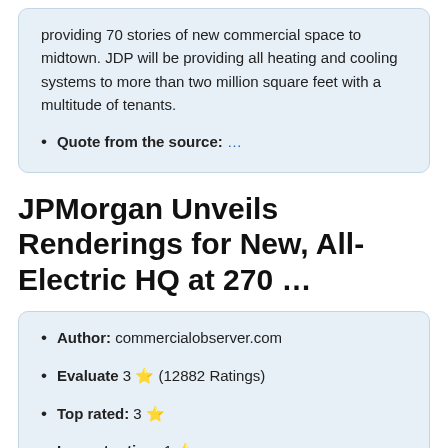providing 70 stories of new commercial space to midtown. JDP will be providing all heating and cooling systems to more than two million square feet with a multitude of tenants.
Quote from the source: …
JPMorgan Unveils Renderings for New, All-Electric HQ at 270 …
Author: commercialobserver.com
Evaluate 3 ⭐ (12882 Ratings)
Top rated: 3 ⭐
Lowest rating: 1 ⭐